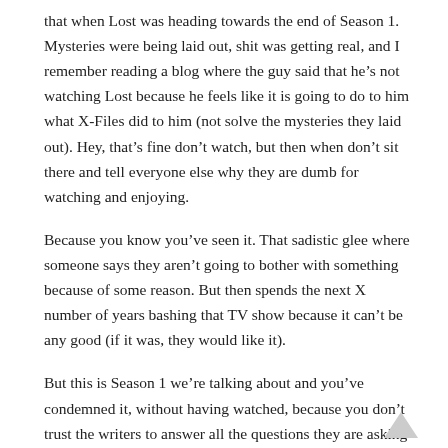that when Lost was heading towards the end of Season 1. Mysteries were being laid out, shit was getting real, and I remember reading a blog where the guy said that he's not watching Lost because he feels like it is going to do to him what X-Files did to him (not solve the mysteries they laid out). Hey, that's fine don't watch, but then when don't sit there and tell everyone else why they are dumb for watching and enjoying.
Because you know you've seen it. That sadistic glee where someone says they aren't going to bother with something because of some reason. But then spends the next X number of years bashing that TV show because it can't be any good (if it was, they would like it).
But this is Season 1 we're talking about and you've condemned it, without having watched, because you don't trust the writers to answer all the questions they are asking (it is an entirely different blog post that would be needed to answer what did or didn't get answered).
I guess what bothers me is it feels so much like the crap that we are supposed to be over. We'd rather complain about something versus just turning the channel. We sit around and hope to be right about something being bad. What the hell kind of person does that make? Does the ability